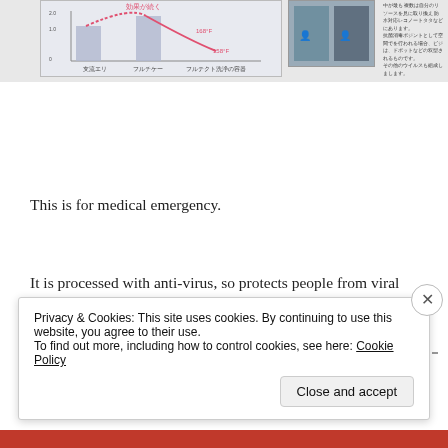[Figure (infographic): Top portion of page showing Japanese medical/filtration diagram on left and images of people in protective equipment on right with Japanese text]
This is for medical emergency.
It is processed with anti-virus, so protects people from viral infection.
It also can be installed by only 2 poeple.
Privacy & Cookies: This site uses cookies. By continuing to use this website, you agree to their use. To find out more, including how to control cookies, see here: Cookie Policy
Close and accept